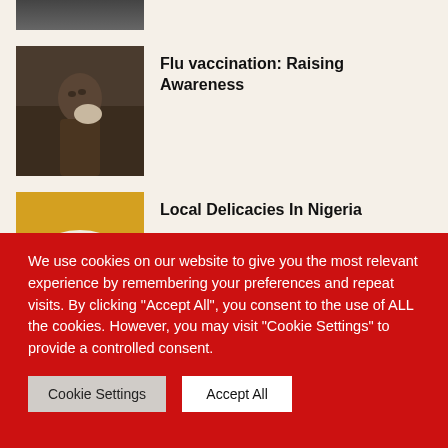[Figure (photo): Partial cropped image at top of page, dark tones]
[Figure (photo): Man in brown shirt covering nose/mouth with tissue, flu scene]
Flu vaccination: Raising Awareness
[Figure (photo): Nigerian local dish - colorful food plate with vegetables and yellow rice]
Local Delicacies In Nigeria
[Figure (photo): Dark background image with red elements, partially visible]
Fear of Coronavirus may hinder Nigerian
We use cookies on our website to give you the most relevant experience by remembering your preferences and repeat visits. By clicking "Accept All", you consent to the use of ALL the cookies. However, you may visit "Cookie Settings" to provide a controlled consent.